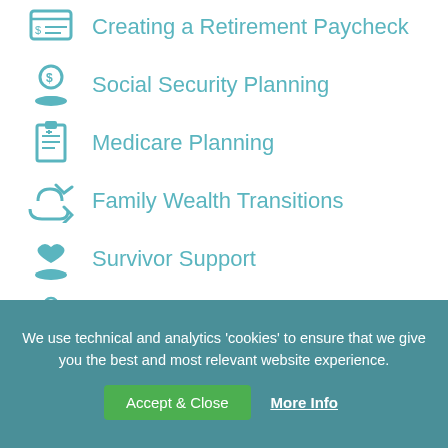Creating a Retirement Paycheck
Social Security Planning
Medicare Planning
Family Wealth Transitions
Survivor Support
First Job
College Planning
We use technical and analytics 'cookies' to ensure that we give you the best and most relevant website experience.
Accept & Close
More Info